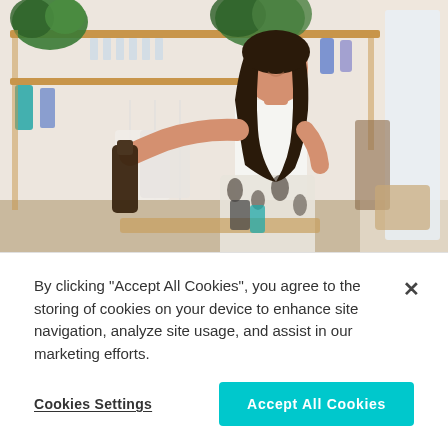[Figure (photo): Woman with long dark hair standing in a retail/boutique store, smiling and holding a dark bottle. Wooden shelves with products visible in the background, plants on top shelf, bright natural light from window on right.]
By clicking “Accept All Cookies”, you agree to the storing of cookies on your device to enhance site navigation, analyze site usage, and assist in our marketing efforts.
Cookies Settings
Accept All Cookies